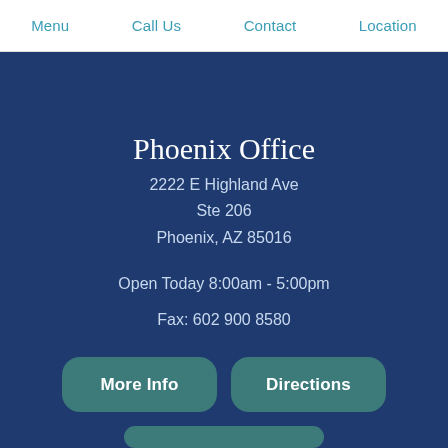Menu   Call Us   Contact   Location
Phoenix Office
2222 E Highland Ave
Ste 206
Phoenix, AZ 85016
Open Today 8:00am - 5:00pm
Fax: 602 900 8580
More Info   Directions